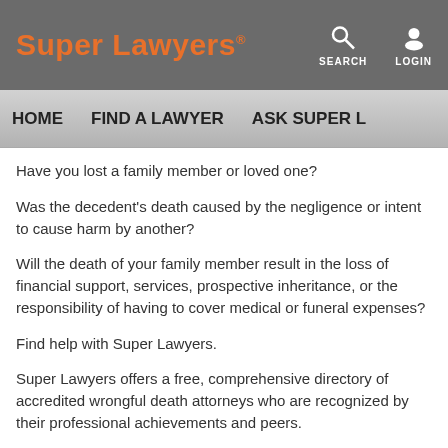Super Lawyers · SEARCH LOGIN
HOME    FIND A LAWYER    ASK SUPER L…
Have you lost a family member or loved one?
Was the decedent's death caused by the negligence or intent to cause harm by another?
Will the death of your family member result in the loss of financial support, services, prospective inheritance, or the responsibility of having to cover medical or funeral expenses?
Find help with Super Lawyers.
Super Lawyers offers a free, comprehensive directory of accredited wrongful death attorneys who are recognized by their professional achievements and peers.